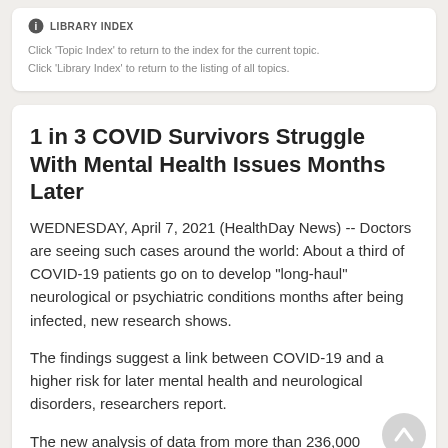LIBRARY INDEX
Click 'Topic Index' to return to the index for the current topic.
Click 'Library Index' to return to the listing of all topics.
1 in 3 COVID Survivors Struggle With Mental Health Issues Months Later
WEDNESDAY, April 7, 2021 (HealthDay News) -- Doctors are seeing such cases around the world: About a third of COVID-19 patients go on to develop "long-haul" neurological or psychiatric conditions months after being infected, new research shows.
The findings suggest a link between COVID-19 and a higher risk for later mental health and neurological disorders, researchers report.
The new analysis of data from more than 236,000